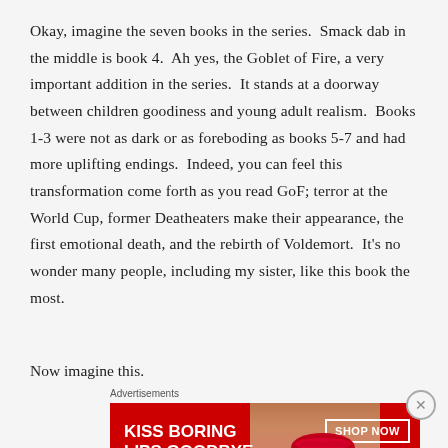Okay, imagine the seven books in the series. Smack dab in the middle is book 4. Ah yes, the Goblet of Fire, a very important addition in the series. It stands at a doorway between children goodiness and young adult realism. Books 1-3 were not as dark or as foreboding as books 5-7 and had more uplifting endings. Indeed, you can feel this transformation come forth as you read GoF; terror at the World Cup, former Deatheaters make their appearance, the first emotional death, and the rebirth of Voldemort. It's no wonder many people, including my sister, like this book the most.
Now imagine this.
[Figure (other): Advertisement banner for Macy's lipstick: 'KISS BORING LIPS GOODBYE' with SHOP NOW button and Macy's star logo on red background with image of lips.]